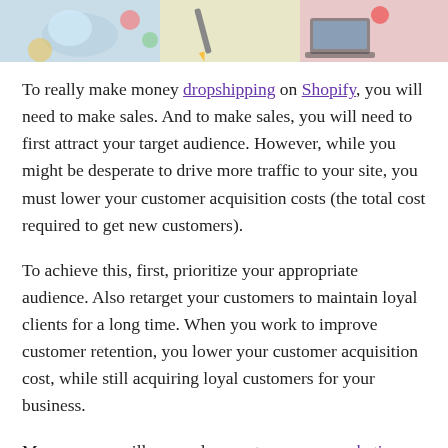[Figure (photo): Partial view of a colorful illustration or photo showing drawing/design materials at the top of the page]
To really make money dropshipping on Shopify, you will need to make sales. And to make sales, you will need to first attract your target audience. However, while you might be desperate to drive more traffic to your site, you must lower your customer acquisition costs (the total cost required to get new customers).
To achieve this, first, prioritize your appropriate audience. Also retarget your customers to maintain loyal clients for a long time. When you work to improve customer retention, you lower your customer acquisition cost, while still acquiring loyal customers for your business.
More so, you will ensure low costs on your marketing strategies and more profit for your business.